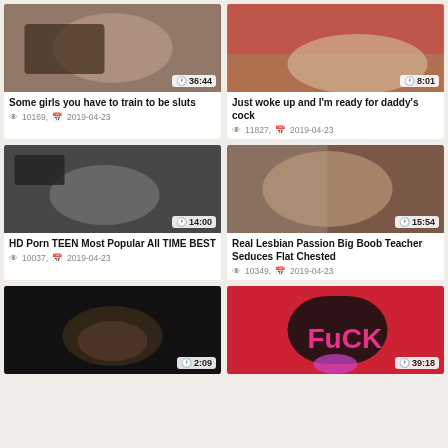[Figure (photo): Video thumbnail 1 - duration 36:44]
Some girls you have to train to be sluts
👁 10169, 📅 2019-04-23
[Figure (photo): Video thumbnail 2 - duration 8:01]
Just woke up and I'm ready for daddy's cock
👁 11827, 📅 2019-04-23
[Figure (photo): Video thumbnail 3 - duration 14:00]
HD Porn TEEN Most Popular All TIME BEST
👁 10037, 📅 2019-04-23
[Figure (photo): Video thumbnail 4 - duration 15:54]
Real Lesbian Passion Big Boob Teacher Seduces Flat Chested
👁 10349, 📅 2019-04-23
[Figure (photo): Video thumbnail 5 - duration 2:09]
[Figure (photo): Video thumbnail 6 - duration 39:18]